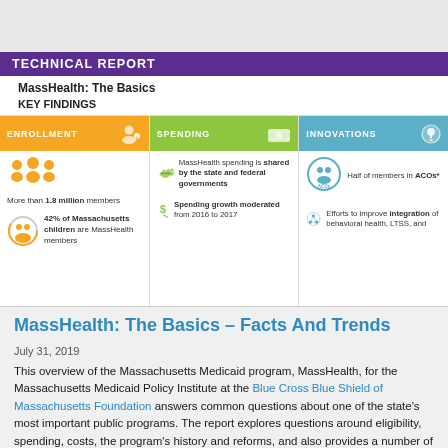[Figure (infographic): MassHealth: The Basics KEY FINDINGS infographic with three panels: ENROLLMENT (more than 1.8 million members, 42% of Massachusetts children are MassHealth members), SPENDING (MassHealth spending is shared by the state and federal governments, Spending growth moderated from 2016 to 2017), INNOVATIONS (Half of members in ACOs*, Efforts to improve integration of behavioral health, LTSS, and...)]
MassHealth: The Basics – Facts And Trends
July 31, 2019
This overview of the Massachusetts Medicaid program, MassHealth, for the Massachusetts Medicaid Policy Institute at the Blue Cross Blue Shield of Massachusetts Foundation answers common questions about one of the state's most important public programs. The report explores questions around eligibility, spending, costs, the program's history and reforms, and also provides a number of illustrative facts, trends, and informative